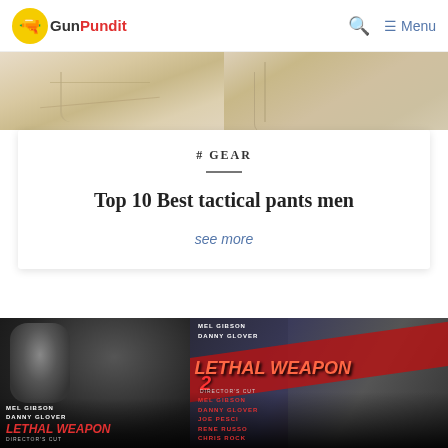GunPundit — Menu
[Figure (photo): Two close-up images of khaki/tan tactical pants]
# GEAR
Top 10 Best tactical pants men
see more
[Figure (photo): Two Lethal Weapon movie DVD covers side by side — original and Lethal Weapon 2 Director's Cut, featuring Mel Gibson, Danny Glover, and for the sequel, Joe Pesci, Rene Russo, Chris Rock]